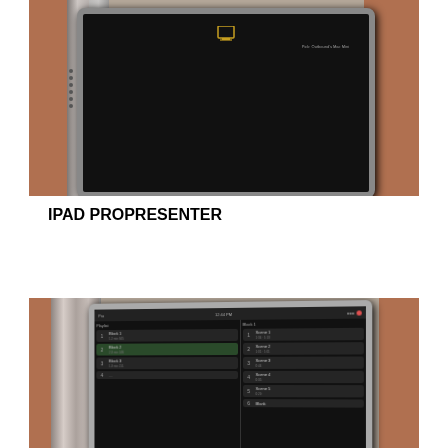[Figure (photo): iPad mounted in a stainless steel wall mount against a brick wall, showing a dark screen with a monitor icon and text. Speaker dots visible on the left side.]
IPAD PROPRESENTER
[Figure (photo): iPad mounted in a stainless steel wall mount against a brick wall, showing the ProPresenter app interface with a playlist of songs/blocks listed on a dark background.]